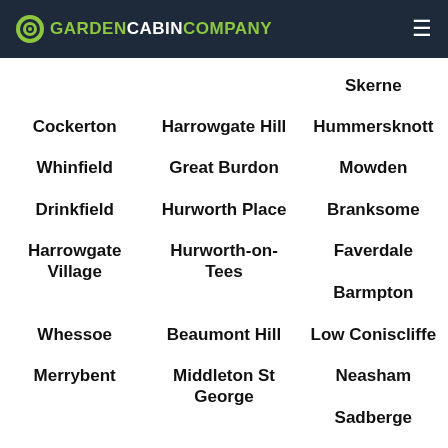GARDEN CABIN COMPANY
Skerne
Cockerton
Harrowgate Hill
Hummersknott
Whinfield
Great Burdon
Mowden
Drinkfield
Hurworth Place
Branksome
Harrowgate Village
Hurworth-on-Tees
Faverdale
Barmpton
Whessoe
Beaumont Hill
Low Coniscliffe
Merrybent
Middleton St George
Neasham
Sadberge